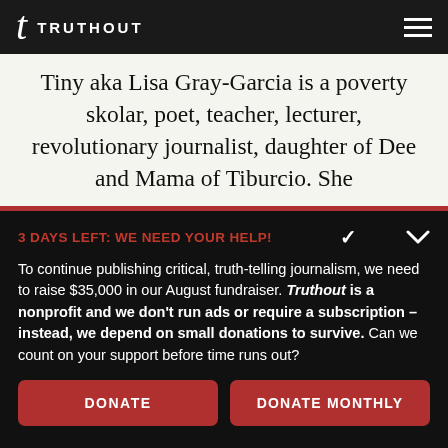TRUTHOUT
Tiny aka Lisa Gray-Garcia is a poverty skolar, poet, teacher, lecturer, revolutionary journalist, daughter of Dee and Mama of Tiburcio. She
3 DAYS LEFT: WE NEED YOUR HELP!
To continue publishing critical, truth-telling journalism, we need to raise $35,000 in our August fundraiser. Truthout is a nonprofit and we don't run ads or require a subscription – instead, we depend on small donations to survive. Can we count on your support before time runs out?
DONATE
DONATE MONTHLY